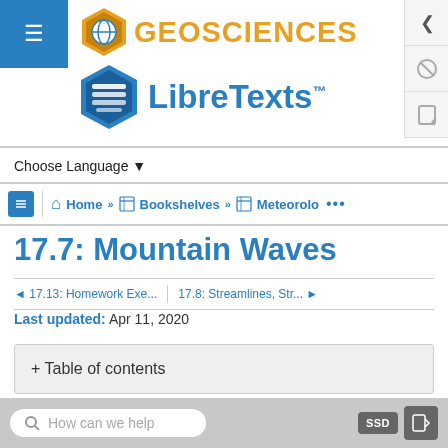[Figure (logo): Geosciences LibreTexts logo with hexagon icons and orange/blue text]
Choose Language ▾
Home » Bookshelves » Meteorolo ...
17.7: Mountain Waves
◄ 17.13: Homework Exe...  |  17.8: Streamlines, Str... ►
Last updated: Apr 11, 2020
+ Table of contents
How can we help